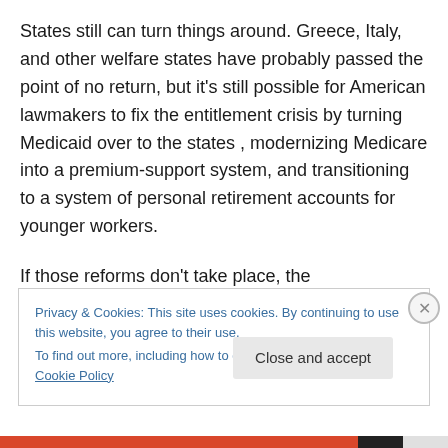States still can turn things around. Greece, Italy, and other welfare states have probably passed the point of no return, but it's still possible for American lawmakers to fix the entitlement crisis by turning Medicaid over to the states , modernizing Medicare into a premium-support system, and transitioning to a system of personal retirement accounts for younger workers.
If those reforms don't take place, the consequences won't be pleasant. To be blunt, there won't be an IMF to bail out the United States.
Privacy & Cookies: This site uses cookies. By continuing to use this website, you agree to their use.
To find out more, including how to control cookies, see here: Cookie Policy